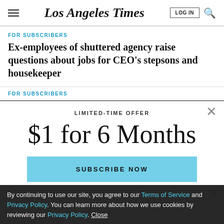Los Angeles Times
FOR SUBSCRIBERS
Ex-employees of shuttered agency raise questions about jobs for CEO's stepsons and housekeeper
FOR SUBSCRIBERS
LIMITED-TIME OFFER
$1 for 6 Months
SUBSCRIBE NOW
By continuing to use our site, you agree to our Terms of Service and Privacy Policy. You can learn more about how we use cookies by reviewing our Privacy Policy. Close